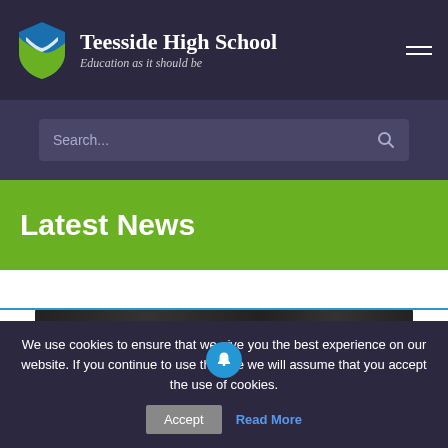Teesside High School — Education as it should be
Search...
Latest News
[Figure (photo): Dark banner image with glowing dots, with a blue bell notification icon centered at the bottom edge, and a blue horizontal border line]
A-level Results Day 2022
We use cookies to ensure that we give you the best experience on our website. If you continue to use this site we will assume that you accept the use of cookies.
Accept   Read More